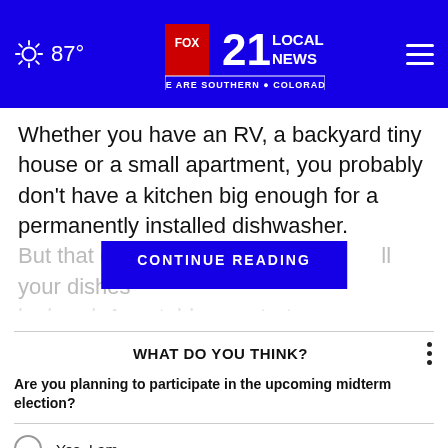87° FOX 21 LOCAL NEWS — WE ARE SOUTHERN COLORADO
Whether you have an RV, a backyard tiny house or a small apartment, you probably don't have a kitchen big enough for a permanently installed dishwasher. But that doesn't mean you have to wash all your dishes by hand. A portable countertop dishwasher will accomplish the same thing.
CONTINUE READING
WHAT DO YOU THINK?
Are you planning to participate in the upcoming midterm election?
Yes, I am
Maybe, I haven't decided
No, I am not